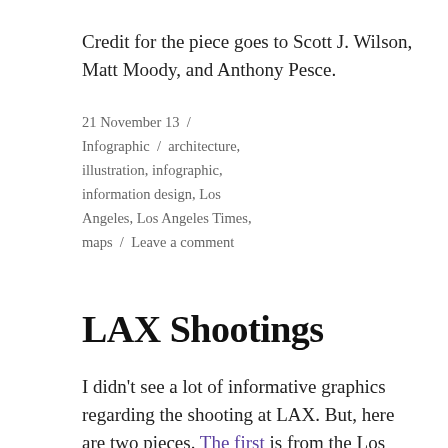Credit for the piece goes to Scott J. Wilson, Matt Moody, and Anthony Pesce.
21 November 13 / Infographic / architecture, illustration, infographic, information design, Los Angeles, Los Angeles Times, maps / Leave a comment
LAX Shootings
I didn't see a lot of informative graphics regarding the shooting at LAX. But, here are two pieces. The first is from the Los Angeles TImes. Terminal 3 is